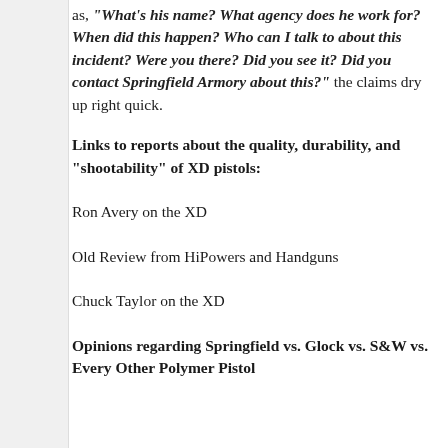as, "What's his name? What agency does he work for? When did this happen? Who can I talk to about this incident? Were you there? Did you see it? Did you contact Springfield Armory about this?" the claims dry up right quick.
Links to reports about the quality, durability, and "shootability" of XD pistols:
Ron Avery on the XD
Old Review from HiPowers and Handguns
Chuck Taylor on the XD
Opinions regarding Springfield vs. Glock vs. S&W vs. Every Other Polymer Pistol